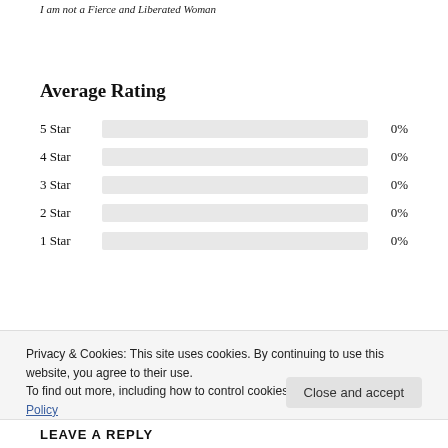I am not a Fierce and Liberated Woman
Average Rating
[Figure (bar-chart): Average Rating]
(Add your review)
Privacy & Cookies: This site uses cookies. By continuing to use this website, you agree to their use.
To find out more, including how to control cookies, see here: Cookie Policy
Close and accept
LEAVE A REPLY